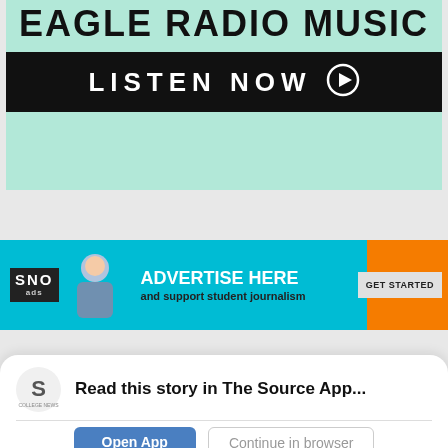[Figure (illustration): Eagle Radio Music banner with mint/teal background, large bold text reading EAGLE RADIO MUSIC, and a black bar below reading LISTEN NOW with a play button circle icon]
[Figure (illustration): SNO ads banner with teal and orange background, showing a student pointing, SNO ads logo, ADVERTISE HERE text, 'and support student journalism' subtext, and GET STARTED button]
Read this story in The Source App...
Open App
Continue in browser